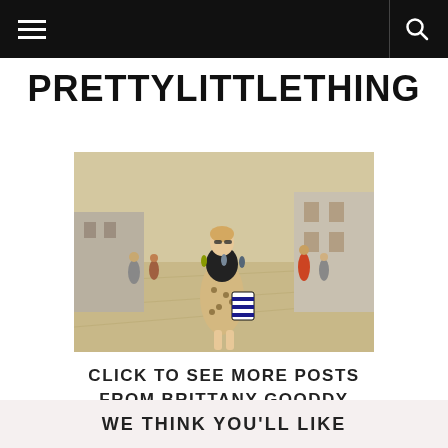Navigation bar with hamburger menu and search icon
PRETTYLITTLETHING
[Figure (photo): A woman in a leopard print midi dress and dark top, carrying a striped bag, posing on a sunlit pedestrian shopping street with people in the background.]
CLICK TO SEE MORE POSTS FROM BRITTANY GOODDY
WE THINK YOU'LL LIKE